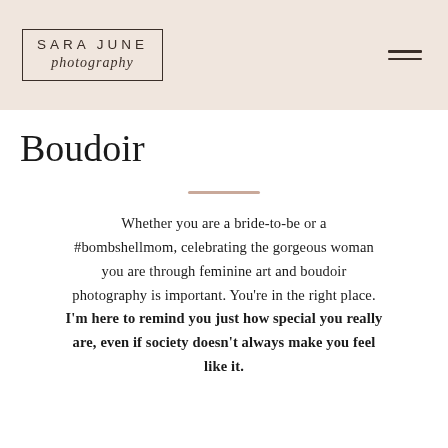SARA JUNE photography
Boudoir
Whether you are a bride-to-be or a #bombshellmom, celebrating the gorgeous woman you are through feminine art and boudoir photography is important. You're in the right place. I'm here to remind you just how special you really are, even if society doesn't always make you feel like it.